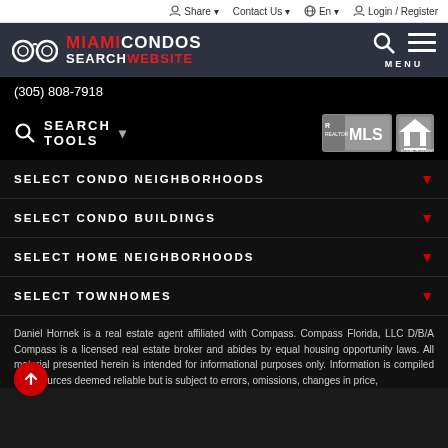Share  Contact Us  En  Login / Register
[Figure (logo): Miami Condos Search Website logo with binoculars icon, search and menu icons]
(305) 808-7918
[Figure (logo): REALTOR MLS and Equal Housing Opportunity badges]
SELECT CONDO NEIGHBORHOODS
SELECT CONDO BUILDINGS
SELECT HOME NEIGHBORHOODS
SELECT TOWNHOMES
Daniel Hornek is a real estate agent affiliated with Compass. Compass Florida, LLC D/B/A Compass is a licensed real estate broker and abides by equal housing opportunity laws. All material presented herein is intended for informational purposes only. Information is compiled from sources deemed reliable but is subject to errors, omissions, changes in price,